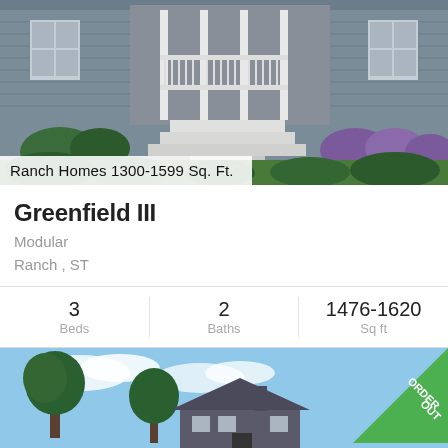[Figure (illustration): Exterior illustration of a ranch-style home with gray siding, front porch with white columns, steps, and landscaping with flowering bushes and shrubs]
Ranch Homes 1300-1599 Sq. Ft.
Greenfield III
Modular
Ranch , ST
| Beds | Baths | Sq ft |
| --- | --- | --- |
| 3 | 2 | 1476-1620 |
[Figure (illustration): Exterior illustration of another ranch-style home with sky background, trees, with an ORDER OUT badge overlay in the top right corner]